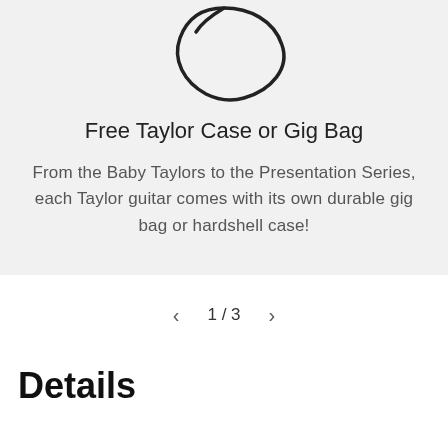[Figure (illustration): Outline/silhouette icon of a guitar pick or gig bag shape, drawn in black on a light grey background]
Free Taylor Case or Gig Bag
From the Baby Taylors to the Presentation Series, each Taylor guitar comes with its own durable gig bag or hardshell case!
1 / 3
Details
[Figure (illustration): Blue circular chat/messaging button icon in bottom right corner]